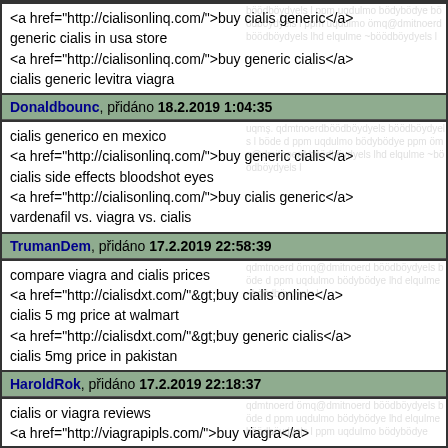<a href="http://cialisonlinq.com/">buy cialis generic</a>
generic cialis in usa store
<a href="http://cialisonlinq.com/">buy generic cialis</a>
cialis generic levitra viagra
Donaldbounc, přidáno 18.2.2019 1:04:35
cialis generico en mexico
<a href="http://cialisonlinq.com/">buy generic cialis</a>
cialis side effects bloodshot eyes
<a href="http://cialisonlinq.com/">buy cialis generic</a>
vardenafil vs. viagra vs. cialis
TrumanDem, přidáno 17.2.2019 22:58:39
compare viagra and cialis prices
<a href="http://cialisdxt.com/"&gt;buy cialis online</a>
cialis 5 mg price at walmart
<a href="http://cialisdxt.com/"&gt;buy generic cialis</a>
cialis 5mg price in pakistan
HaroldRok, přidáno 17.2.2019 22:18:37
cialis or viagra reviews
<a href="http://viagrapipls.com/">buy viagra</a>
walmart generic viagra 100mg price in india
<a href="http://viagrapipls.com/">buy viagra</a>
cialis or viagra generic
AndrewRaw, přidáno 16.2.2019 20:39:51
viagra dosage vs cialis
<a href="http://cialispaxt.com/"&gt;buy cialis</a>